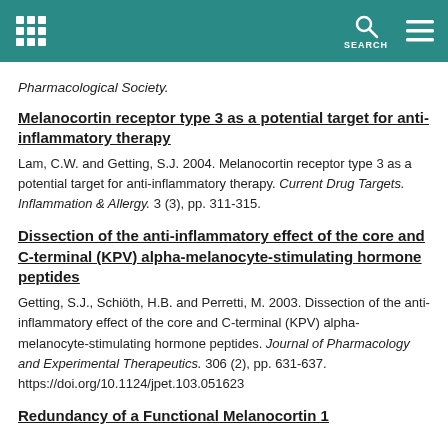[Figure (screenshot): Website header bar with teal background, grid icon on left, search icon and hamburger menu on right]
Pharmacological Society.
Melanocortin receptor type 3 as a potential target for anti-inflammatory therapy
Lam, C.W. and Getting, S.J. 2004. Melanocortin receptor type 3 as a potential target for anti-inflammatory therapy. Current Drug Targets. Inflammation & Allergy. 3 (3), pp. 311-315.
Dissection of the anti-inflammatory effect of the core and C-terminal (KPV) alpha-melanocyte-stimulating hormone peptides
Getting, S.J., Schiöth, H.B. and Perretti, M. 2003. Dissection of the anti-inflammatory effect of the core and C-terminal (KPV) alpha-melanocyte-stimulating hormone peptides. Journal of Pharmacology and Experimental Therapeutics. 306 (2), pp. 631-637. https://doi.org/10.1124/jpet.103.051623
Redundancy of a Functional Melanocortin 1